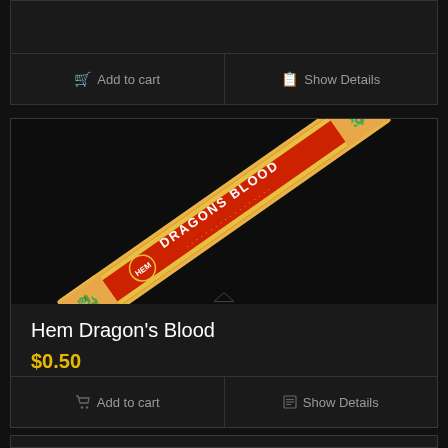[Figure (screenshot): Top portion of a product card with Add to cart and Show Details buttons on dark background]
[Figure (photo): Photo of a HEM Dragon's Blood incense stick package, diagonal orientation, red and orange packaging with DRAGONS BLOOD text]
Hem Dragon's Blood
$0.50
Add to cart
Show Details
[Figure (screenshot): Partial bottom card, beginning of next product listing]